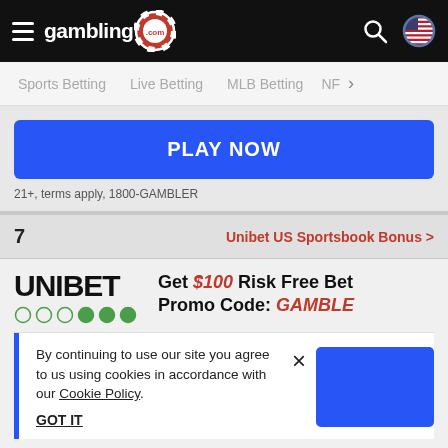gambling.com
Sports Betting   Live Betting   MLB Betting   N>
PLAY NOW
21+, terms apply, 1800-GAMBLER
7   Unibet US Sportsbook Bonus >
UNIBET   Get $100 Risk Free Bet Promo Code: GAMBLE
By continuing to use our site you agree to us using cookies in accordance with our Cookie Policy.
GOT IT
21+, terms apply, 1800-GAMBLER